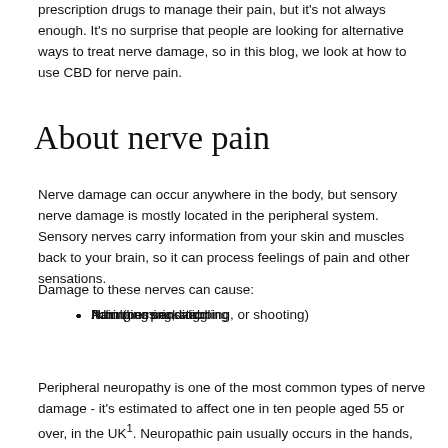prescription drugs to manage their pain, but it's not always enough. It's no surprise that people are looking for alternative ways to treat nerve damage, so in this blog, we look at how to use CBD for nerve pain.
About nerve pain
Nerve damage can occur anywhere in the body, but sensory nerve damage is mostly located in the peripheral system. Sensory nerves carry information from your skin and muscles back to your brain, so it can process feelings of pain and other sensations.
Damage to these nerves can cause:
Pain (burning, stabbing, or shooting)
Numbness and tingling
Itching or prickling
A burning sensation
Peripheral neuropathy is one of the most common types of nerve damage - it's estimated to affect one in ten people aged 55 or over, in the UK¹. Neuropathic pain usually occurs in the hands, feet and arms and is often caused by diabetes.